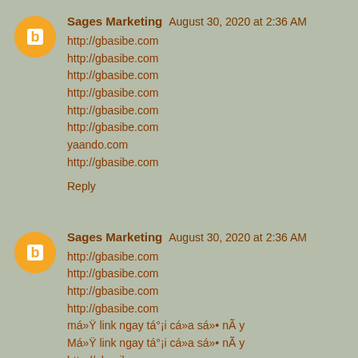Sages Marketing  August 30, 2020 at 2:36 AM
http://gbasibe.com
http://gbasibe.com
http://gbasibe.com
http://gbasibe.com
http://gbasibe.com
http://gbasibe.com
yaando.com
http://gbasibe.com
Reply
Sages Marketing  August 30, 2020 at 2:36 AM
http://gbasibe.com
http://gbasibe.com
http://gbasibe.com
http://gbasibe.com
má»Ÿ link ngay tá°¡i cá»a sá»• nÃ y
Má»Ÿ link ngay tá°¡i cá»a sá»• nÃ y
http://gbasibe.com
http://gbasibe.com